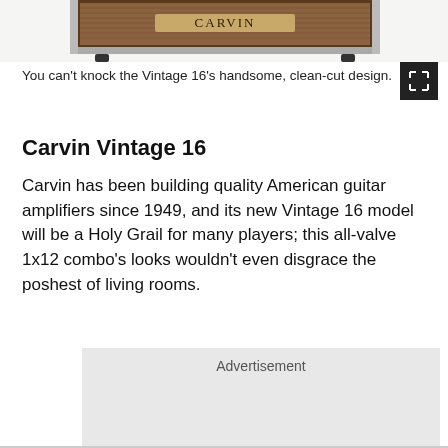[Figure (photo): Carvin Vintage 16 guitar amplifier combo, brown/tan tweed-style cabinet with Carvin logo, partial view from top]
You can't knock the Vintage 16's handsome, clean-cut design.
Carvin Vintage 16
Carvin has been building quality American guitar amplifiers since 1949, and its new Vintage 16 model will be a Holy Grail for many players; this all-valve 1x12 combo's looks wouldn't even disgrace the poshest of living rooms.
Advertisement